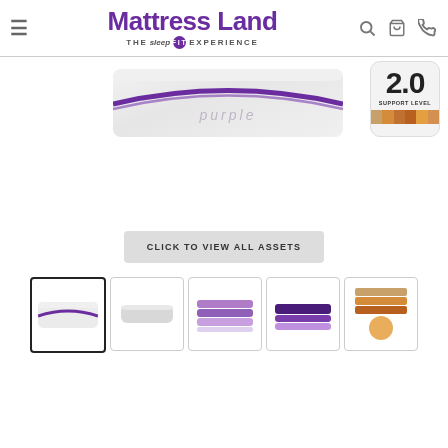Mattress Land — THE sleep FIT EXPERIENCE — navigation header with search, cart, and phone icons
[Figure (photo): Purple mattress product image showing top view with purple curved stripe and 'purple' brand text]
[Figure (infographic): Support Level 2.0 badge with color gradient bar at bottom]
CLICK TO VIEW ALL ASSETS
[Figure (photo): Thumbnail 1 (active/selected): Purple mattress top view, white with purple stripe]
[Figure (photo): Thumbnail 2: Pillow or mattress top side view, gray tones]
[Figure (photo): Thumbnail 3: Purple mattress cross-section with layered purple foam]
[Figure (photo): Thumbnail 4: Purple mattress cross-section dark purple top layer]
[Figure (photo): Thumbnail 5: Support level color chart badge close-up]